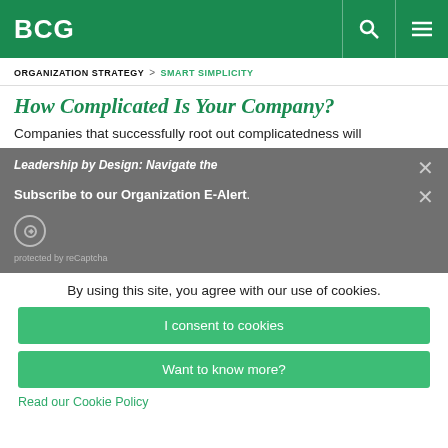BCG
ORGANIZATION STRATEGY > SMART SIMPLICITY
How Complicated Is Your Company?
Companies that successfully root out complicatedness will
Leadership by Design: Navigate the
Subscribe to our Organization E-Alert.
protected by reCaptcha
By using this site, you agree with our use of cookies.
I consent to cookies
Want to know more?
Read our Cookie Policy